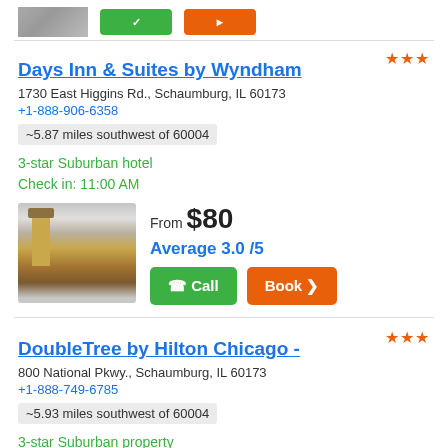[Figure (screenshot): Top strip showing hotel photo thumbnail, green call button, and orange book button]
Days Inn & Suites by Wyndham
1730 East Higgins Rd., Schaumburg, IL 60173
+1-888-906-6358
~5.87 miles southwest of 60004
3-star Suburban hotel
Check in: 11:00 AM
[Figure (photo): Photo of Days Inn & Suites by Wyndham hotel exterior with clock tower]
From $80
Average 3.0 /5
DoubleTree by Hilton Chicago -
800 National Pkwy., Schaumburg, IL 60173
+1-888-749-6785
~5.93 miles southwest of 60004
3-star Suburban property